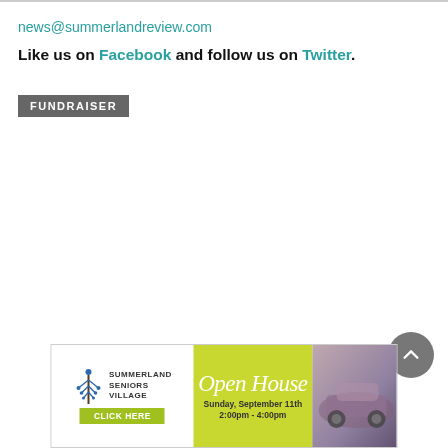news@summerlandreview.com
Like us on Facebook and follow us on Twitter.
FUNDRAISER
[Figure (other): Summerland Seniors Village Open House advertisement banner. Sunday, September 11th, 2:00pm - 4:00pm. Click Here button. Shows a classic car photo.]